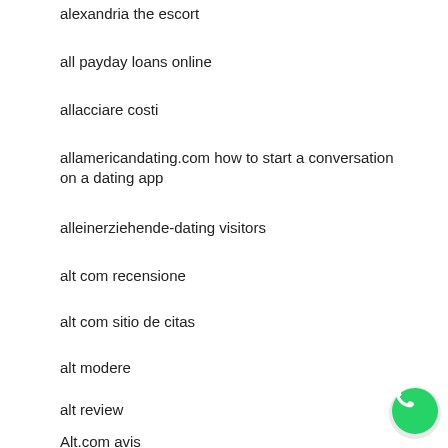alexandria the escort
all payday loans online
allacciare costi
allamericandating.com how to start a conversation on a dating app
alleinerziehende-dating visitors
alt com recensione
alt com sitio de citas
alt modere
alt review
Alt.com avis